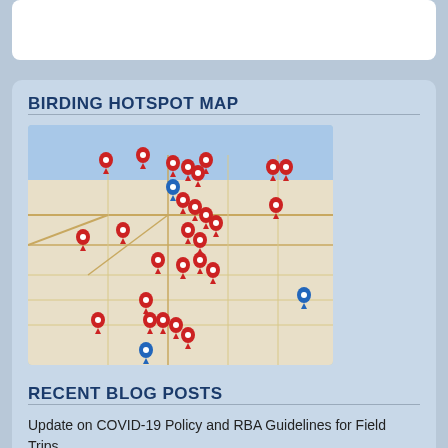BIRDING HOTSPOT MAP
[Figure (map): Google map of Rochester area showing 37 birding hotspot locations marked with red and blue pin markers scattered across the region.]
This map reveals key information for 37 of Rochester’s best birding hotspots. View Map.
RECENT BLOG POSTS
Update on COVID-19 Policy and RBA Guidelines for Field Trips